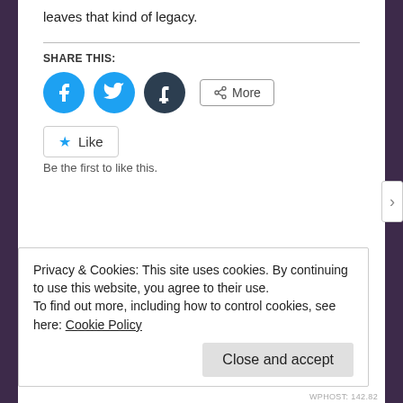leaves that kind of legacy.
SHARE THIS:
[Figure (infographic): Social share buttons: Facebook (blue circle), Twitter (blue circle), Tumblr (dark circle), and a More button with share icon]
[Figure (infographic): Like button with star icon]
Be the first to like this.
Privacy & Cookies: This site uses cookies. By continuing to use this website, you agree to their use.
To find out more, including how to control cookies, see here: Cookie Policy
Close and accept
WPHOST: 142.82